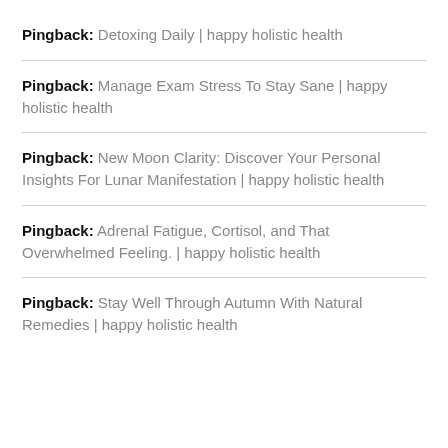Pingback: Detoxing Daily | happy holistic health
Pingback: Manage Exam Stress To Stay Sane | happy holistic health
Pingback: New Moon Clarity: Discover Your Personal Insights For Lunar Manifestation | happy holistic health
Pingback: Adrenal Fatigue, Cortisol, and That Overwhelmed Feeling. | happy holistic health
Pingback: Stay Well Through Autumn With Natural Remedies | happy holistic health